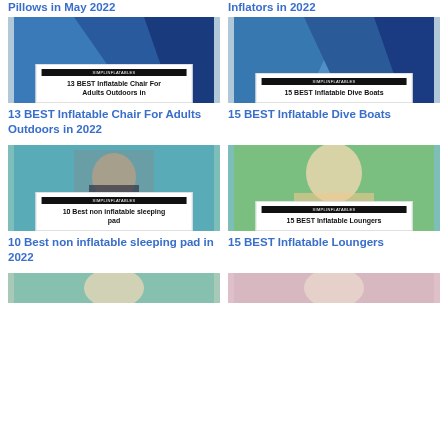Pillows in May 2022
Inflators in 2022
[Figure (illustration): Card image with geometric blue/purple background and overlay text: 13 BEST Inflatable Chair For Adults Outdoors in]
13 BEST Inflatable Chair For Adults Outdoors in 2022
[Figure (illustration): Card image with geometric blue/purple background and overlay text: 15 BEST Inflatable Dive Boats]
15 BEST Inflatable Dive Boats
[Figure (photo): Man in suit holding inflatable ball, teal background, overlay text: 10 Best non inflatable sleeping pad]
10 Best non inflatable sleeping pad in 2022
[Figure (photo): Smiling blonde woman giving thumbs up outdoors, overlay text: 15 BEST Inflatable Loungers]
15 BEST Inflatable Loungers
[Figure (photo): Partial image of woman, pink/green background — bottom row left card]
[Figure (photo): Partial image, pink/mauve background — bottom row right card]